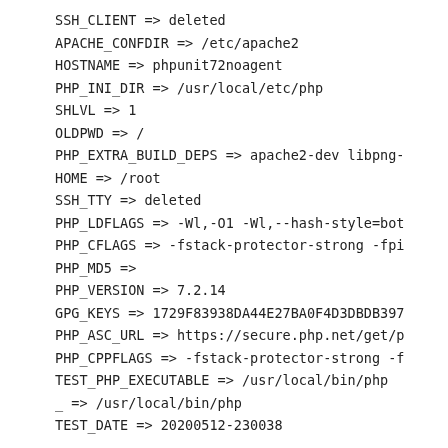SSH_CLIENT => deleted
APACHE_CONFDIR => /etc/apache2
HOSTNAME => phpunit72noagent
PHP_INI_DIR => /usr/local/etc/php
SHLVL => 1
OLDPWD => /
PHP_EXTRA_BUILD_DEPS => apache2-dev libpng-
HOME => /root
SSH_TTY => deleted
PHP_LDFLAGS => -Wl,-O1 -Wl,--hash-style=bot
PHP_CFLAGS => -fstack-protector-strong -fpi
PHP_MD5 =>
PHP_VERSION => 7.2.14
GPG_KEYS => 1729F83938DA44E27BA0F4D3DBDB397
PHP_ASC_URL => https://secure.php.net/get/p
PHP_CPPFLAGS => -fstack-protector-strong -f
TEST_PHP_EXECUTABLE => /usr/local/bin/php
_ => /usr/local/bin/php
TEST_DATE => 20200512-230038